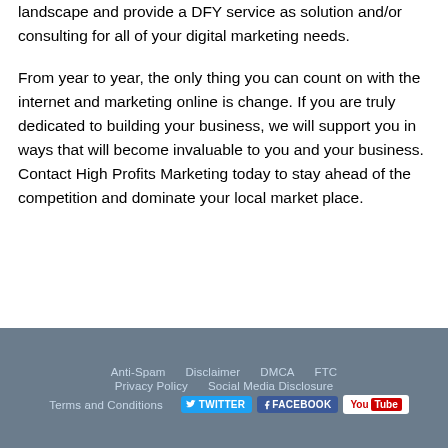landscape and provide a DFY service as solution and/or consulting for all of your digital marketing needs.
From year to year, the only thing you can count on with the internet and marketing online is change. If you are truly dedicated to building your business, we will support you in ways that will become invaluable to you and your business. Contact High Profits Marketing today to stay ahead of the competition and dominate your local market place.
Anti-Spam  Disclaimer  DMCA  FTC  Privacy Policy  Social Media Disclosure  Terms and Conditions  Twitter  Facebook  YouTube